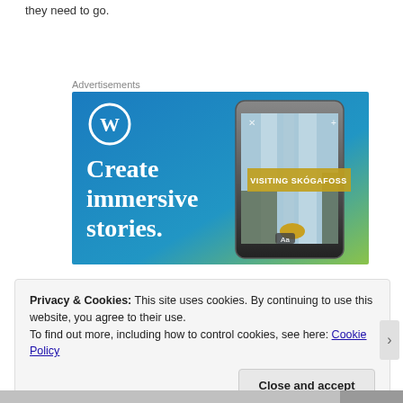they need to go.
Advertisements
[Figure (screenshot): WordPress advertisement banner showing 'Create immersive stories.' with a phone displaying a waterfall scene labeled 'VISITING SKÓGAFOSS', on a blue-to-green gradient background with WordPress logo]
Privacy & Cookies: This site uses cookies. By continuing to use this website, you agree to their use.
To find out more, including how to control cookies, see here: Cookie Policy
Close and accept